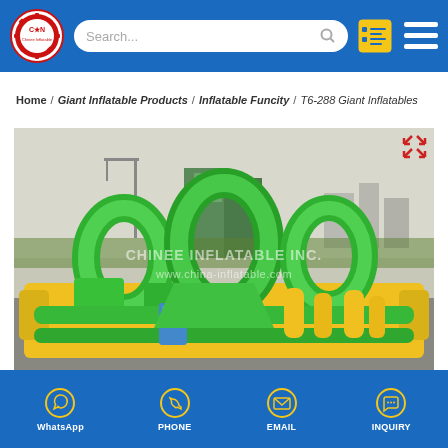Chinee Inflatable Inc. - Header navigation with logo, search bar, and menu icons
Home / Giant Inflatable Products / Inflatable Funcity / T6-288 Giant Inflatables
[Figure (photo): Large inflatable funcity/obstacle course structure in green and yellow colors, photographed outdoors on a rooftop or open area with city buildings in background. Watermark reads: CHINEE INFLATABLE INC. www.china-inflatable.com]
WhatsApp  PHONE  EMAIL  INQUIRY